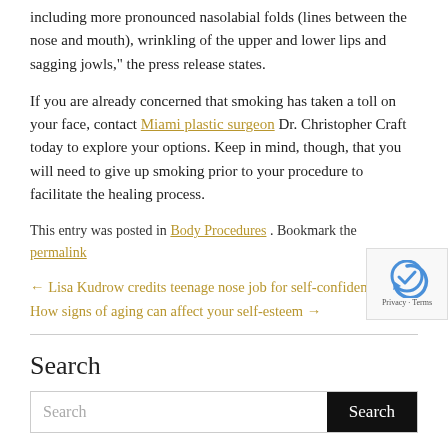including more pronounced nasolabial folds (lines between the nose and mouth), wrinkling of the upper and lower lips and sagging jowls," the press release states.
If you are already concerned that smoking has taken a toll on your face, contact Miami plastic surgeon Dr. Christopher Craft today to explore your options. Keep in mind, though, that you will need to give up smoking prior to your procedure to facilitate the healing process.
This entry was posted in Body Procedures . Bookmark the permalink
← Lisa Kudrow credits teenage nose job for self-confidence
How signs of aging can affect your self-esteem →
Search